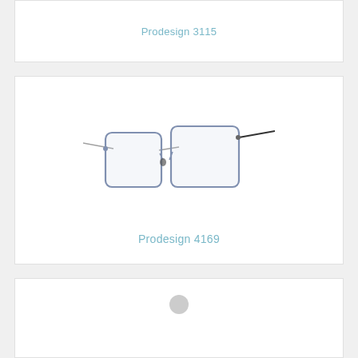Prodesign 3115
[Figure (photo): Product photo of Prodesign 4169 eyeglasses frames — oversized square metal frames in blue/purple with thin gold-tone temples, shown in 3/4 view]
Prodesign 4169
[Figure (photo): Partial product photo of another Prodesign eyeglasses frame, cropped at bottom of page]